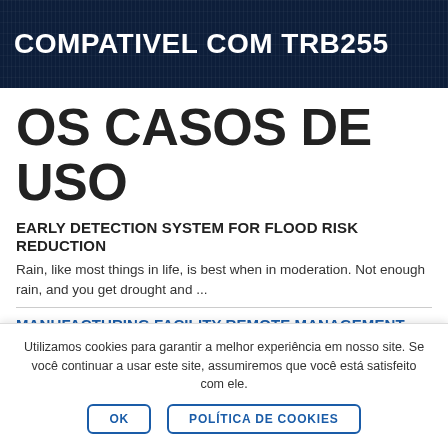COMPATIVEL COM TRB255
OS CASOS DE USO
EARLY DETECTION SYSTEM FOR FLOOD RISK REDUCTION
Rain, like most things in life, is best when in moderation. Not enough rain, and you get drought and ...
MANUFACTURING FACILITY REMOTE MANAGEMENT
Utilizamos cookies para garantir a melhor experiência em nosso site. Se você continuar a usar este site, assumiremos que você está satisfeito com ele.
OK  POLÍTICA DE COOKIES